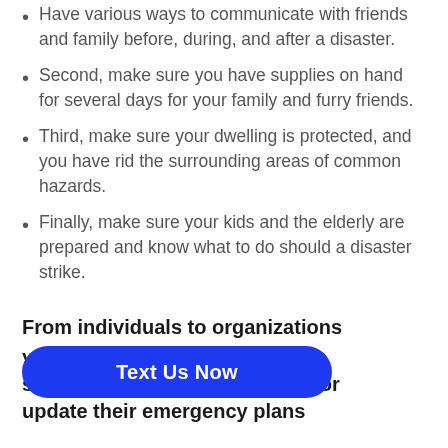Have various ways to communicate with friends and family before, during, and after a disaster.
Second, make sure you have supplies on hand for several days for your family and furry friends.
Third, make sure your dwelling is protected, and you have rid the surrounding areas of common hazards.
Finally, make sure your kids and the elderly are prepared and know what to do should a disaster strike.
From individuals to organizations
yers should take time how to create or update their emergency plans